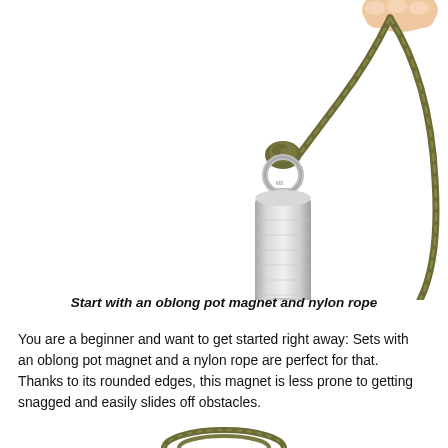[Figure (photo): An oblong silver pot magnet with an eye bolt at the top, threaded with an olive/dark green nylon rope. A hand holds the rope from the top right. The magnet has a cylindrical silver aluminum body with a slightly darker base ring.]
Start with an oblong pot magnet and nylon rope
You are a beginner and want to get started right away: Sets with an oblong pot magnet and a nylon rope are perfect for that. Thanks to its rounded edges, this magnet is less prone to getting snagged and easily slides off obstacles.
[Figure (photo): Bottom of a nylon rope coiled, partially visible at the bottom of the page.]